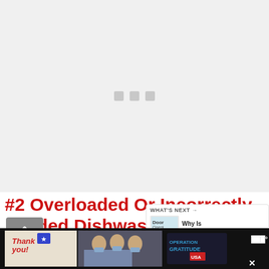[Figure (photo): Loading placeholder image area with three gray square dots centered on a light gray background]
[Figure (infographic): Teal circular like/heart button showing heart icon, count of 2, and share button below]
#2 Overloaded Or Incorrectly Loaded Dishwasher Racks
[Figure (screenshot): What's Next panel showing door opener thumbnail and text 'Why Is Dishwasher'...]
[Figure (photo): Advertisement bar at bottom with Operation Gratitude imagery showing nurses holding cards and Thank You text]